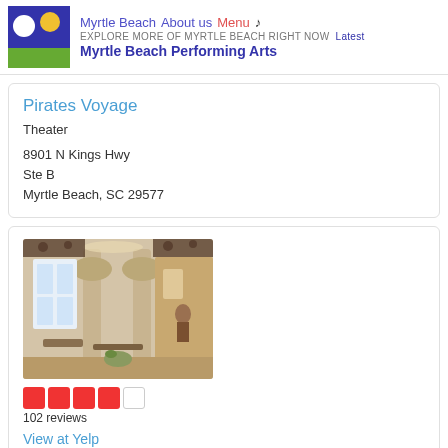Myrtle Beach  About us  Menu  ♪  EXPLORE MORE OF MYRTLE BEACH RIGHT NOW  Latest  Myrtle Beach Performing Arts
Pirates Voyage
Theater
8901 N Kings Hwy
Ste B
Myrtle Beach, SC 29577
[Figure (photo): Interior photo of a venue showing arched columns, high windows, tables and chairs, ornate decor]
102 reviews
View at Yelp
Carolina Opry
Theater Musicvenues